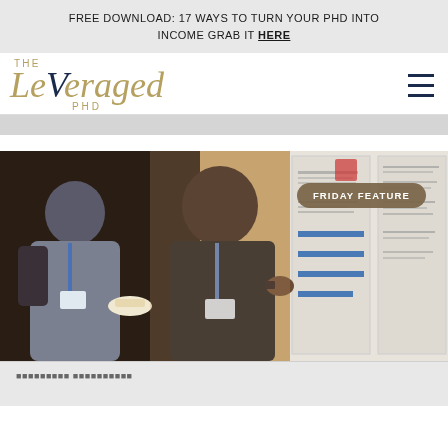FREE DOWNLOAD: 17 WAYS TO TURN YOUR PHD INTO INCOME GRAB IT HERE
[Figure (logo): The Leveraged PhD logo — stylized serif text with gold and navy coloring]
[Figure (photo): Two men at an academic conference having a conversation near a research poster board. One man in a black shirt with a lanyard is gesturing while speaking. The other man in a gray shirt is holding a plate of food. Research posters are visible in the background. A 'FRIDAY FEATURE' badge overlay appears in the upper right.]
FRIDAY FEATURE